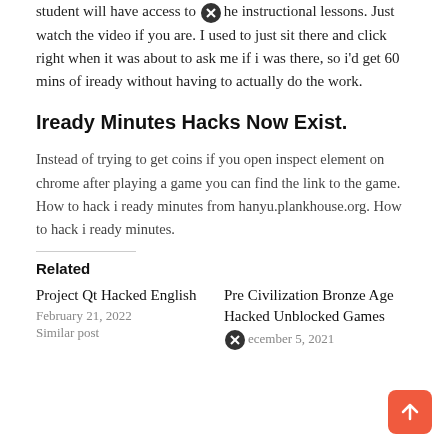student will have access to the instructional lessons. Just watch the video if you are. I used to just sit there and click right when it was about to ask me if i was there, so i'd get 60 mins of iready without having to actually do the work.
Iready Minutes Hacks Now Exist.
Instead of trying to get coins if you open inspect element on chrome after playing a game you can find the link to the game. How to hack i ready minutes from hanyu.plankhouse.org. How to hack i ready minutes.
Related
Project Qt Hacked English
February 21, 2022
Similar post
Pre Civilization Bronze Age Hacked Unblocked Games
December 5, 2021